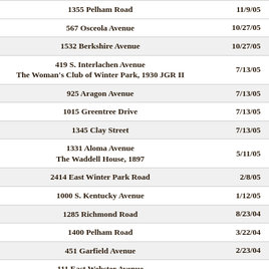| Address | Date |
| --- | --- |
| 1355 Pelham Road | 11/9/05 |
| 567 Osceola Avenue | 10/27/05 |
| 1532 Berkshire Avenue | 10/27/05 |
| 419 S. Interlachen Avenue
The Woman's Club of Winter Park, 1930 JGR II | 7/13/05 |
| 925 Aragon Avenue | 7/13/05 |
| 1015 Greentree Drive | 7/13/05 |
| 1345 Clay Street | 7/13/05 |
| 1331 Aloma Avenue
The Waddell House, 1897 | 5/11/05 |
| 2414 East Winter Park Road | 2/8/05 |
| 1000 S. Kentucky Avenue | 1/12/05 |
| 1285 Richmond Road | 8/23/04 |
| 1400 Pelham Road | 3/22/04 |
| 451 Garfield Avenue | 2/23/04 |
| 111 East Webster Avenue
The Hotard House | 2/9/04 |
| 121 Garfield Avenue
The Kummer Kilbourne House | 1/26/04 |